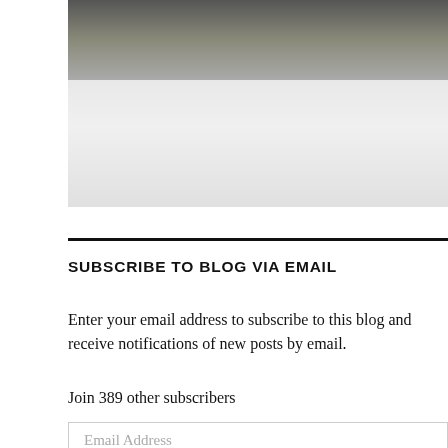[Figure (photo): Photo of students or people in white shirts/uniforms, cropped showing upper body and faces]
SUBSCRIBE TO BLOG VIA EMAIL
Enter your email address to subscribe to this blog and receive notifications of new posts by email.
Join 389 other subscribers
Email Address